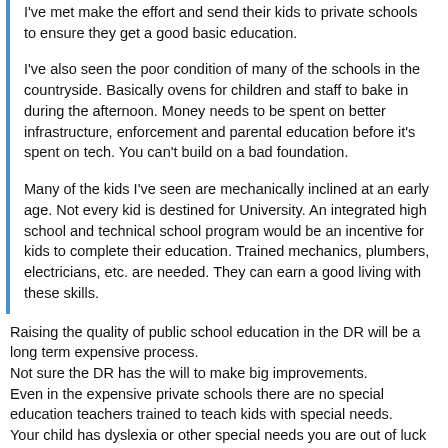I've met make the effort and send their kids to private schools to ensure they get a good basic education.

I've also seen the poor condition of many of the schools in the countryside. Basically ovens for children and staff to bake in during the afternoon. Money needs to be spent on better infrastructure, enforcement and parental education before it's spent on tech. You can't build on a bad foundation.

Many of the kids I've seen are mechanically inclined at an early age. Not every kid is destined for University. An integrated high school and technical school program would be an incentive for kids to complete their education. Trained mechanics, plumbers, electricians, etc. are needed. They can earn a good living with these skills.
Raising the quality of public school education in the DR will be a long term expensive process.
Not sure the DR has the will to make big improvements.
Even in the expensive private schools there are no special education teachers trained to teach kids with special needs.
Your child has dyslexia or other special needs you are out of luck here.
It wasn't me